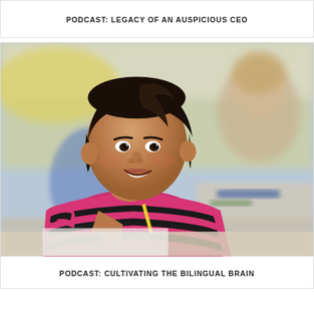PODCAST: LEGACY OF AN AUSPICIOUS CEO
[Figure (photo): A young girl in a pink and black striped shirt sitting at a classroom desk, smiling and resting her chin on her hand while holding a yellow pencil. In the blurred background another student and classroom furniture are visible.]
PODCAST: CULTIVATING THE BILINGUAL BRAIN